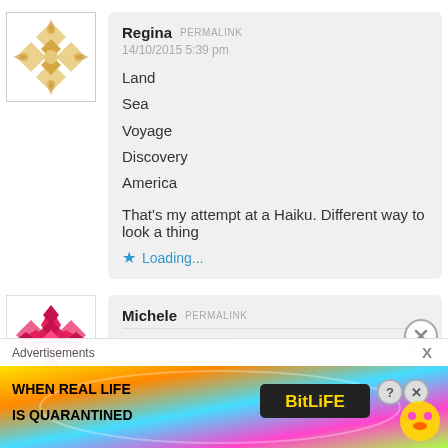[Figure (illustration): Avatar icon with golden geometric/quilt pattern on white background with light border]
Regina  PERMALINK
14/10/2015 5:39 pm

Land
Sea
Voyage
Discovery
America

That's my attempt at a Haiku. Different way to look a thing
★ Loading...
[Figure (illustration): Avatar icon with pink/magenta geometric star pattern on white background]
Michele  PERMALINK
Advertisements  X
[Figure (illustration): BitLife advertisement banner with rainbow gradient background, text 'WHEN REAL LIFE IS QUARANTINED' and BitLife logo with emoji character]